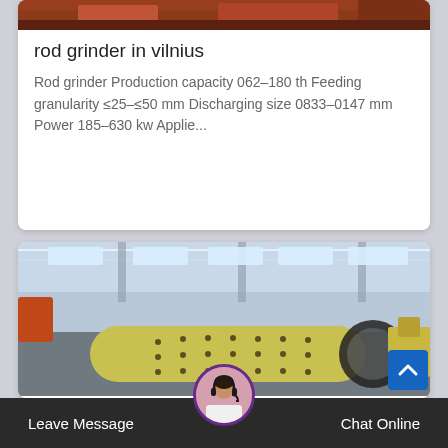[Figure (photo): Top portion of industrial machinery image, reddish-orange equipment in a factory setting]
rod grinder in vilnius
Rod grinder Production capacity 062–180 th Feeding granularity ≤25–≤50 mm Discharging size 0833–0147 mm Power 185–630 kw Applie...
[Figure (photo): Industrial ball mill / rod grinder — large yellow cylindrical grinding machine with gear drive in a factory warehouse]
Leave Message   Chat Online